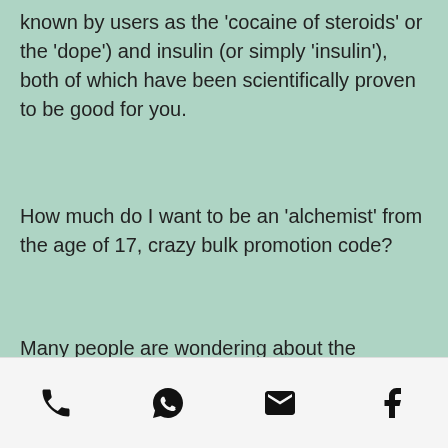known by users as the 'cocaine of steroids' or the 'dope') and insulin (or simply 'insulin'), both of which have been scientifically proven to be good for you.
How much do I want to be an 'alchemist' from the age of 17, crazy bulk promotion code?
Many people are wondering about the 'alchemist' of the testosterone steroids industry from what age a man should start to be an 'alchemist' and some advice exists to that effect. This age is often seen as the age when a man should be 'more masculine' according to some, however this is not always the case, crazy bulk hgh-x2 ingredients. For most men starting at the 'alchemist' would not be a good idea. There
[Figure (other): Footer bar with four icons: phone, WhatsApp (chat bubble with phone), email (envelope), and Facebook (f logo)]